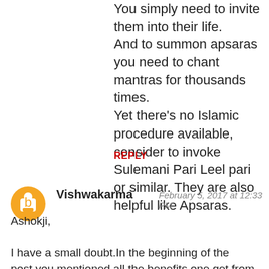You simply need to invite them into their life.
And to summon apsaras you need to chant mantras for thousands times.
Yet there's no Islamic procedure available, consider to invoke Sulemani Pari Leel pari or similar. They are also helpful like Apsaras.
REPLY
Vishwakarma  February 5, 2017 at 12:33 PM
Ashokji,

I have a small doubt.In the beginning of the post,you mentioned all the benefits one get from apsara sadhana(such as irresistible aura,guidance and